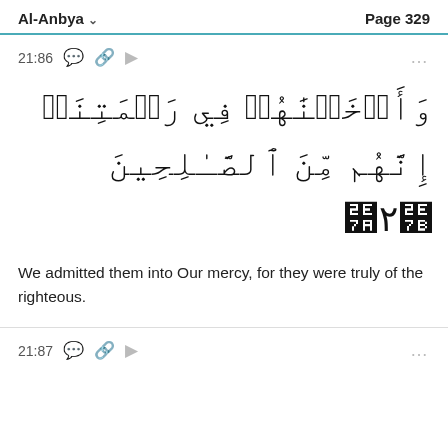Al-Anbya   Page 329
21:86
وَأَدۡخَلۡنَٰهُمۡ فِي رَحۡمَتِنَآۚ إِنَّهُم مِّنَ ٱلصَّٰلِحِينَ ٨٦
We admitted them into Our mercy, for they were truly of the righteous.
21:87